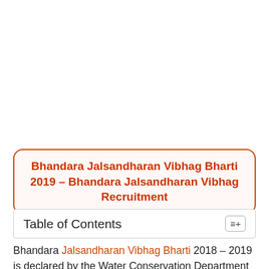Bhandara Jalsandharan Vibhag Bharti 2019 – Bhandara Jalsandharan Vibhag Recruitment
Table of Contents
Bhandara Jalsandharan Vibhag Bharti 2018 – 2019 is declared by the Water Conservation Department of Maharashtra. Jalsandharan Vibhag Bharti is conducted